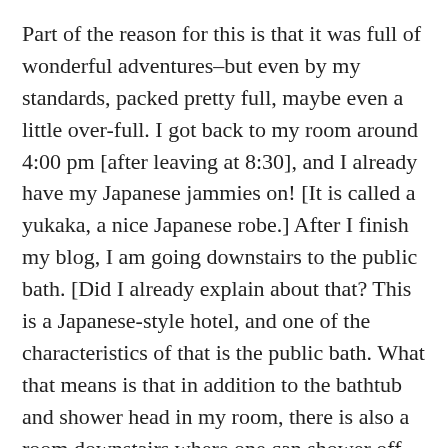Part of the reason for this is that it was full of wonderful adventures–but even by my standards, packed pretty full, maybe even a little over-full. I got back to my room around 4:00 pm [after leaving at 8:30], and I already have my Japanese jammies on! [It is called a yukaka, a nice Japanese robe.] After I finish my blog, I am going downstairs to the public bath. [Did I already explain about that? This is a Japanese-style hotel, and one of the characteristics of that is the public bath. What that means is that in addition to the bathtub and shower head in my room, there is also a room downstairs where one can shower off, and then get into a very hot shallow tub of water. Again, not co-ed!] It is going to feel very